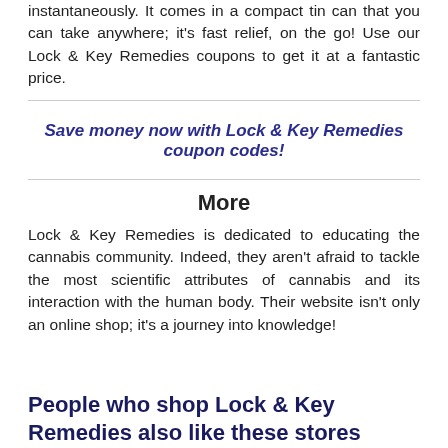instantaneously. It comes in a compact tin can that you can take anywhere; it's fast relief, on the go! Use our Lock & Key Remedies coupons to get it at a fantastic price.
Save money now with Lock & Key Remedies coupon codes!
More
Lock & Key Remedies is dedicated to educating the cannabis community. Indeed, they aren't afraid to tackle the most scientific attributes of cannabis and its interaction with the human body. Their website isn't only an online shop; it's a journey into knowledge!
People who shop Lock & Key Remedies also like these stores